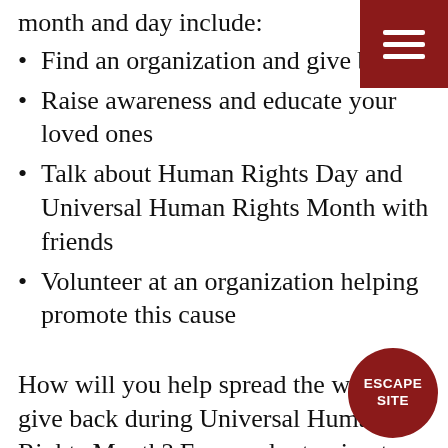month and day include:
Find an organization and give back
Raise awareness and educate your loved ones
Talk about Human Rights Day and Universal Human Rights Month with friends
Volunteer at an organization helping promote this cause
How will you help spread the word and give back during Universal Human Rights Month? From volunteering to